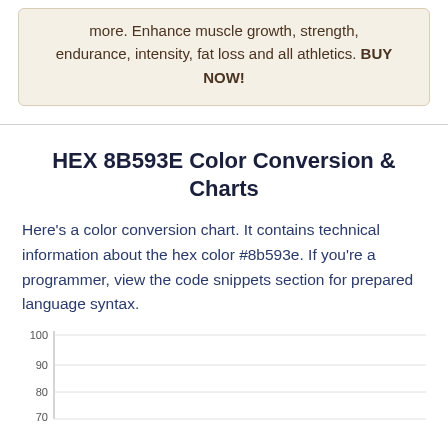more. Enhance muscle growth, strength, endurance, intensity, fat loss and all athletics. BUY NOW!
HEX 8B593E Color Conversion & Charts
Here's a color conversion chart. It contains technical information about the hex color #8b593e. If you're a programmer, view the code snippets section for prepared language syntax.
[Figure (continuous-plot): Partial bar/line chart with y-axis showing values 70, 80, 90, 100 — bottom portion of a color conversion chart for #8b593e]